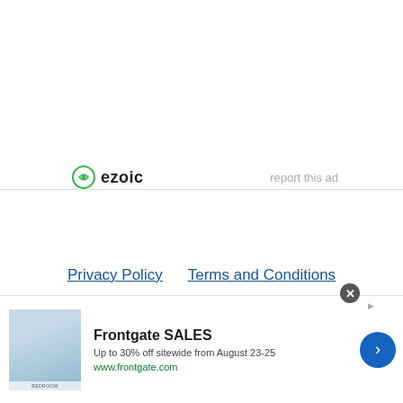[Figure (logo): Ezoic logo with green circular icon and bold 'ezoic' text, with 'report this ad' link on the right]
Privacy Policy    Terms and Conditions
© 2022 Copyright GetLabsDone
[Figure (infographic): Frontgate SALES advertisement banner: bedroom image on left, 'Frontgate SALES' title, 'Up to 30% off sitewide from August 23-25', 'www.frontgate.com' URL, blue arrow button on right, close X button at top]